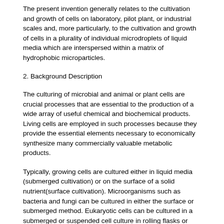The present invention generally relates to the cultivation and growth of cells on laboratory, pilot plant, or industrial scales and, more particularly, to the cultivation and growth of cells in a plurality of individual microdroplets of liquid media which are interspersed within a matrix of hydrophobic microparticles.
2. Background Description
The culturing of microbial and animal or plant cells are crucial processes that are essential to the production of a wide array of useful chemical and biochemical products. Living cells are employed in such processes because they provide the essential elements necessary to economically synthesize many commercially valuable metabolic products.
Typically, growing cells are cultured either in liquid media (submerged cultivation) or on the surface of a solid nutrient(surface cultivation). Microorganisms such as bacteria and fungi can be cultured in either the surface or submerged method. Eukaryotic cells can be cultured in a submerged or suspended cell culture in rolling flasks or